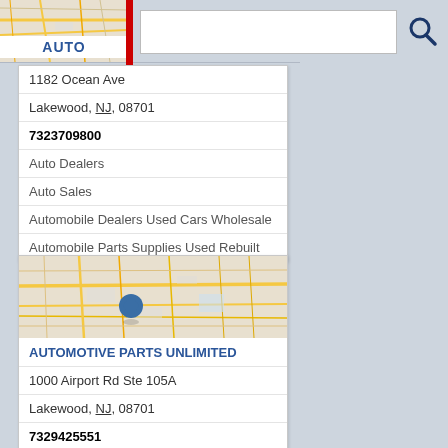[Figure (screenshot): Top partial map snippet behind AUTO label with red bar and search box]
AUTO
1182 Ocean Ave
Lakewood, NJ, 08701
7323709800
Auto Dealers
Auto Sales
Automobile Dealers Used Cars Wholesale
Automobile Parts Supplies Used Rebuilt
[Figure (map): Street map with blue location pin marker for Automotive Parts Unlimited in Lakewood NJ]
AUTOMOTIVE PARTS UNLIMITED
1000 Airport Rd Ste 105A
Lakewood, NJ, 08701
7329425551
American Automotive
Auto Parts Stores
Auto Reupholstery